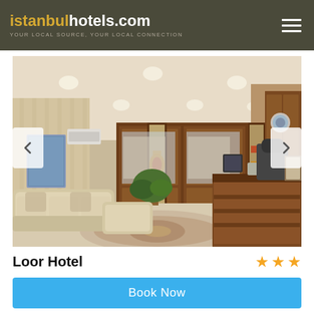istanbulhotels.com YOUR LOCAL SOURCE, YOUR LOCAL CONNECTION
[Figure (photo): Hotel lobby interior with cream sofas, ornate wooden double doors with stained glass panels, reception desk, recessed ceiling lights, and decorative floor rug]
Loor Hotel ★★★
Book Now
Hotel General Information